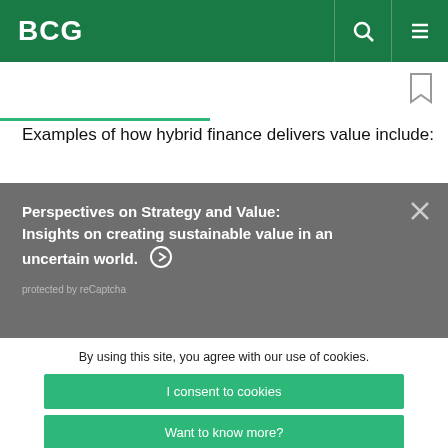BCG
Examples of how hybrid finance delivers value include:
[Figure (screenshot): Gray overlay banner with bold white text: 'Perspectives on Strategy and Value: Insights on creating sustainable value in an uncertain world.' with a right-arrow circle icon, a close (X) button in the top right, and small text 'protected by reCaptcha' at bottom.]
By using this site, you agree with our use of cookies.
I consent to cookies
Want to know more?
Read our Cookie Policy